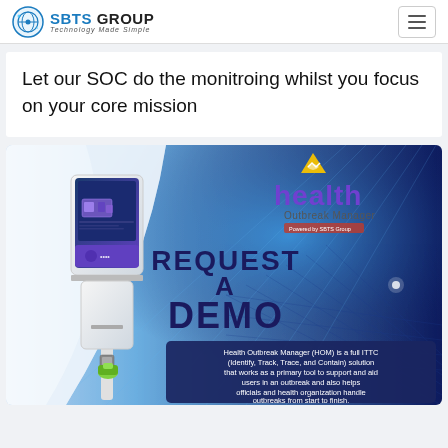SBTS GROUP - Technology Made Simple
Let our SOC do the monitroing whilst you focus on your core mission
[Figure (infographic): Health Outbreak Manager promotional banner showing a kiosk device on the left with a dark blue background on the right featuring the health Outbreak Manager logo, 'REQUEST A DEMO' text in bold, and a description: 'Health Outbreak Manager (HOM) is a full ITTC (Identify, Track, Trace, and Contain) solution that works as a primary tool to support and aid users in an outbreak and also helps officials and health organization handle outbreaks from start to finish.']